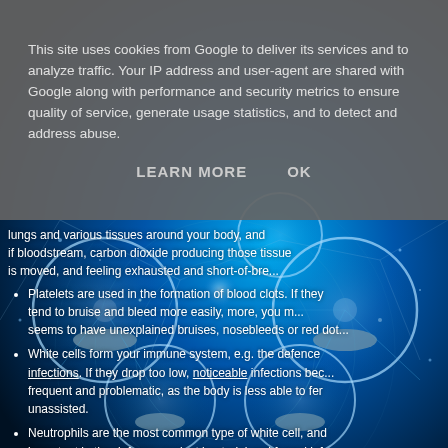This site uses cookies from Google to deliver its services and to analyze traffic. Your IP address and user-agent are shared with Google along with performance and security metrics to ensure quality of service, generate usage statistics, and to detect and address abuse.
LEARN MORE   OK
[Figure (photo): Blue digital microscopy background image showing glowing circular cell-like structures and network patterns in blue and white tones]
lungs and various tissues around your body, and if bloodstream, carbon dioxide producing those tissues is moved, and feeling exhausted and short-of-breath.
Platelets are used in the formation of blood clots. If they tend to bruise and bleed more easily, more, you may seem to have unexplained bruises, nosebleeds or red dots on the skin.
White cells form your immune system, e.g. the defence infections. If they drop too low, noticeable infections become frequent and problematic, as the body is less able to fend unassisted.
Neutrophils are the most common type of white cell, and important in the defence against bacterial and fungal inf... drop too low, the effect is similar to that as with white ce...